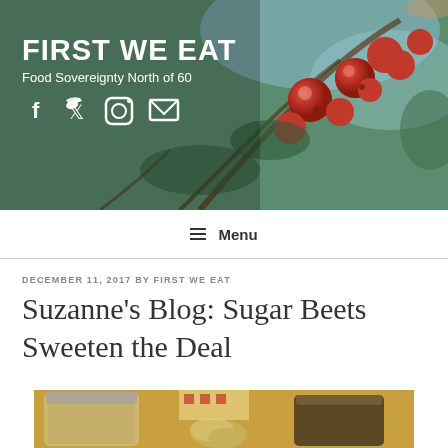[Figure (photo): Header banner with red berries on branches, site title 'FIRST WE EAT', tagline 'Food Sovereignty North of 60', and social media icons (Facebook, Twitter, Instagram, Email) on a nature background]
≡ Menu
DECEMBER 11, 2017 BY FIRST WE EAT
Suzanne's Blog: Sugar Beets Sweeten the Deal
[Figure (photo): Photo of mason jars and a ginger root on a yellow surface, with a colorful mug in the background]